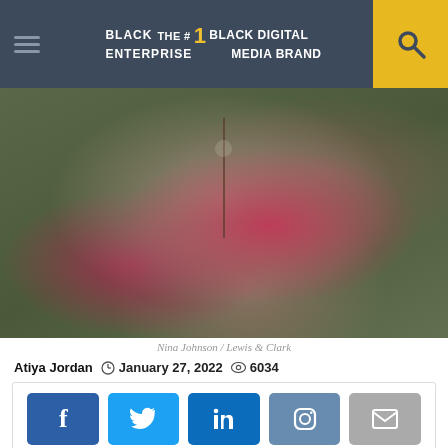BLACK ENTERPRISE THE #1 BLACK DIGITAL MEDIA BRAND
[Figure (photo): Close-up photo of a person wearing a patterned jacket with a necklace, in front of green foliage]
Nina Johnson / Lewis & Clark
Atiya Jordan  January 27, 2022  6034
[Figure (infographic): Social sharing buttons: Facebook, Twitter, LinkedIn, Instagram, Email]
[Figure (photo): Photo of a person wearing sunglasses, partially visible, with a chat/comment button overlay]